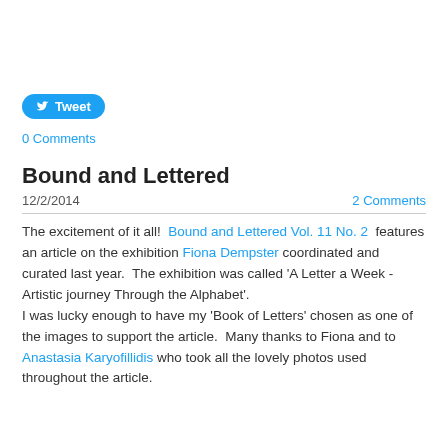[Figure (other): Twitter Tweet button with bird icon]
0 Comments
Bound and Lettered
12/2/2014   2 Comments
The excitement of it all!  Bound and Lettered Vol. 11 No. 2  features an article on the exhibition Fiona Dempster coordinated and curated last year.  The exhibition was called 'A Letter a Week - Artistic journey Through the Alphabet'.
I was lucky enough to have my 'Book of Letters' chosen as one of the images to support the article.  Many thanks to Fiona and to Anastasia Karyofillidis who took all the lovely photos used throughout the article.